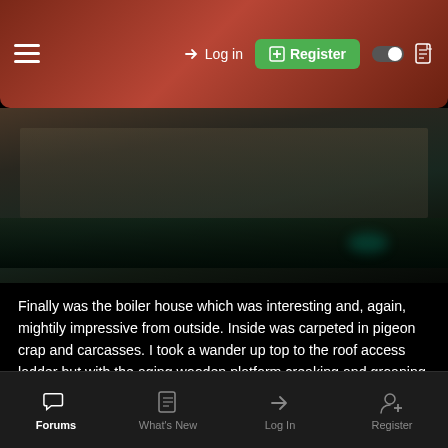≡  → Log in  ⊕ Register
[Figure (photo): Partial view of an outdoor or industrial scene, dark toned, partially cropped]
Finally was the boiler house which was interesting and, again, mightily impressive from outside. Inside was carpeted in pigeon crap and carcasses. I took a wander up top to the roof access ladder but with the aging wooden platform creaking and groaning underneath my feet and the final ladder being less than sturdy I didnâ€™t fancy a 30ft fall whilst on my own and potentially dying amongst the pigeons Iâ€™d encountered on the way up so gave it a miss.
Forums  What's New  Log In  Register